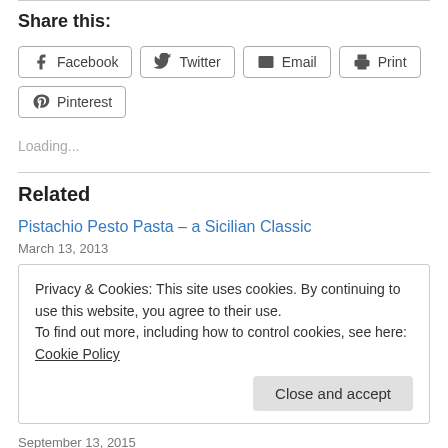Share this:
[Figure (other): Share buttons: Facebook, Twitter, Email, Print, Pinterest]
Loading...
Related
Pistachio Pesto Pasta – a Sicilian Classic
March 13, 2013
Privacy & Cookies: This site uses cookies. By continuing to use this website, you agree to their use. To find out more, including how to control cookies, see here: Cookie Policy
Close and accept
September 13, 2015